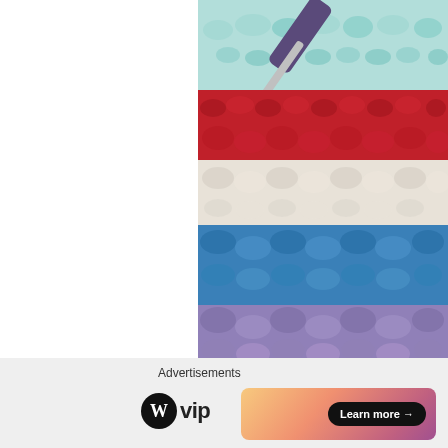[Figure (photo): Close-up photo of colorful crochet work with a metal crochet hook. Rows of yarn in mint/teal, red, white, blue, and lavender/purple colors are visible. A silver crochet hook with a purple handle is inserted into the teal yarn at the top.]
Advertisements
[Figure (logo): WordPress VIP logo: WordPress W circle icon followed by 'vip' text in bold]
[Figure (other): Advertisement banner with gradient orange-pink background and a 'Learn more →' button in black pill shape]